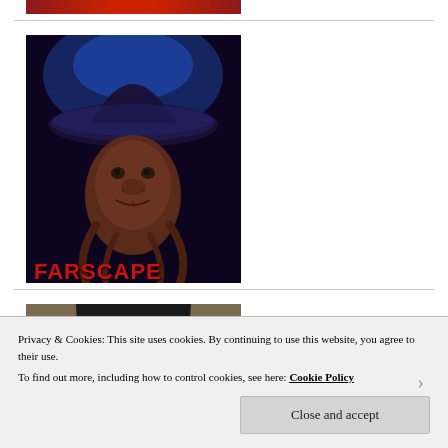[Figure (photo): Partial top image with red/orange lettering, cropped at top of page]
[Figure (photo): Farscape promotional image showing an alien creature wearing a wide-brimmed hat with blue lighting, and red FARSCAPE text at the bottom left]
[Figure (photo): Partial image of a person with dark hair parted in the middle, appearing to be a TV show or movie character]
Privacy & Cookies: This site uses cookies. By continuing to use this website, you agree to their use.
To find out more, including how to control cookies, see here: Cookie Policy
Close and accept